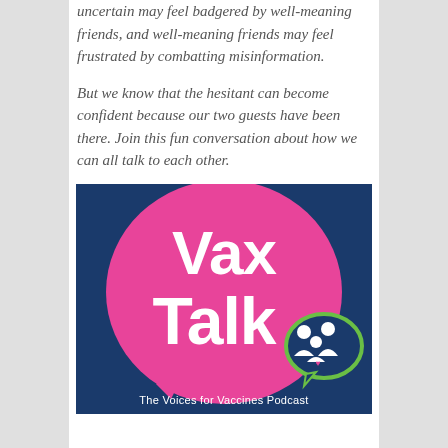uncertain may feel badgered by well-meaning friends, and well-meaning friends may feel frustrated by combatting misinformation.
But we know that the hesitant can become confident because our two guests have been there. Join this fun conversation about how we can all talk to each other.
[Figure (logo): Vax Talk - The Voices for Vaccines Podcast logo. Dark blue background with a large pink speech bubble shape. White bold text reads 'Vax Talk'. A green outlined speech bubble icon contains two adult figures and one child figure in dark blue.]